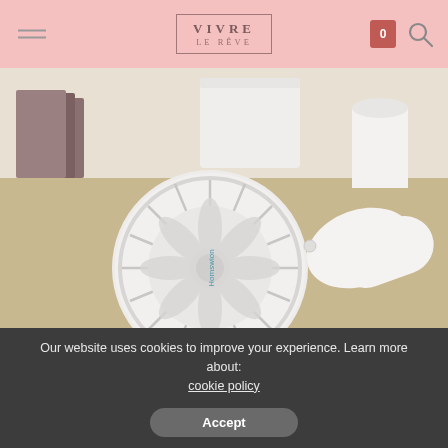VIVRE LE RÊVE
[Figure (photo): White handheld portable mini fan (Homswion brand) photographed on a light wood desk surface with white objects in background]
Our website uses cookies to improve your experience. Learn more about: cookie policy
Accept